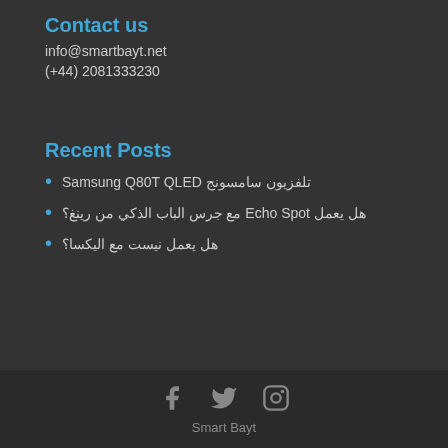Contact us
info@smartbayt.net
(+44) 2081333230
Recent Posts
تلفزيون سامسونج Samsung Q80T QLED
هل يعمل Echo Spot مع جرس الباب الذكي من رينغ؟
هل يعمل نيست مع اليكسا؟
Smart Bayt